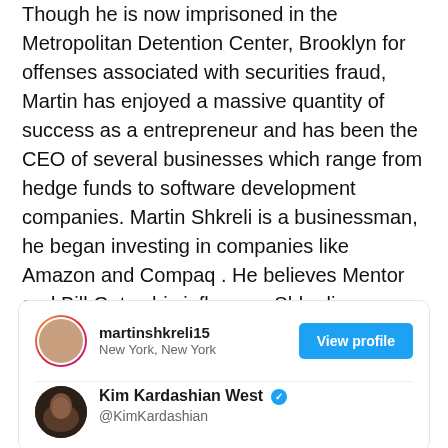Though he is now imprisoned in the Metropolitan Detention Center, Brooklyn for offenses associated with securities fraud, Martin has enjoyed a massive quantity of success as a entrepreneur and has been the CEO of several businesses which range from hedge funds to software development companies. Martin Shkreli is a businessman, he began investing in companies like Amazon and Compaq . He believes Mentor and Bill Gates his influence. Shkreli was described as brilliant, quirky, intriguing, horrible, malicious and completely compelling by those who have come in touch with him.
[Figure (screenshot): Social media profile card showing martinshkreli15 from New York, New York with a View profile button, and a tweet from Kim Kardashian West (@KimKardashian) with verified badge]